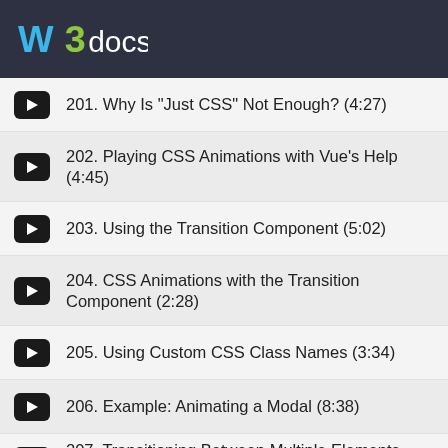W3docs
201. Why Is "Just CSS" Not Enough? (4:27)
202. Playing CSS Animations with Vue's Help (4:45)
203. Using the Transition Component (5:02)
204. CSS Animations with the Transition Component (2:28)
205. Using Custom CSS Class Names (3:34)
206. Example: Animating a Modal (8:38)
207. Transitioning Between Multiple Elements (9:15)